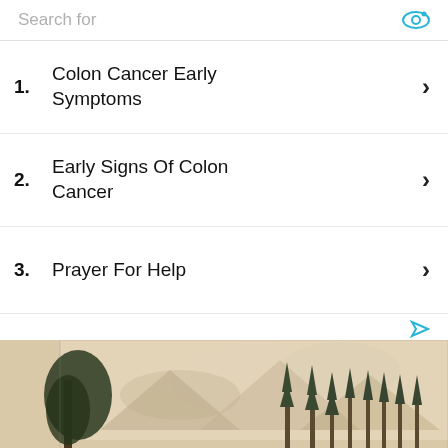Search for
1. Colon Cancer Early Symptoms
2. Early Signs Of Colon Cancer
3. Prayer For Help
[Figure (illustration): Historical sepia-toned engraving or lithograph of a frontier settlement or military camp with tall trees, small buildings/cabins along a road, and mountains in the background.]